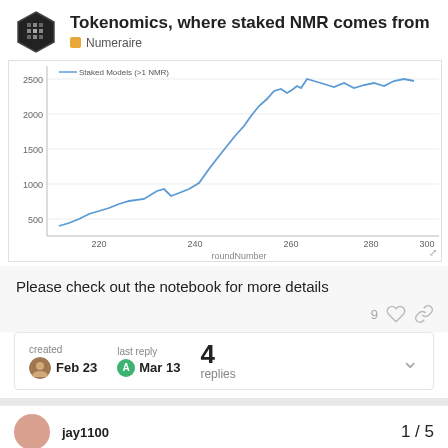Tokenomics, where staked NMR comes from
Numeraire
[Figure (line-chart): Line chart showing Staked Models (>1 NMR) over roundNumber from ~210 to ~300. Values rise from ~300 at round 210 up to ~2500 near round 295, with a slight dip around round 280.]
Please check out the notebook for more details
9 likes
created Feb 23  last reply Mar 13  4 replies
jay1100
1 / 5